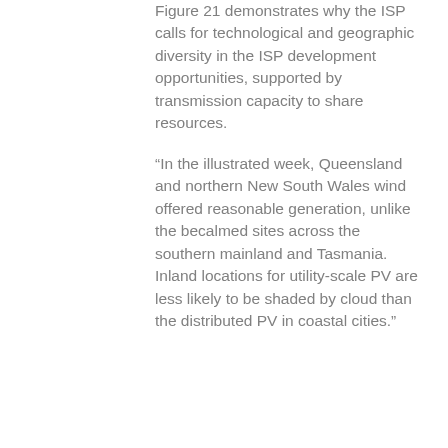Figure 21 demonstrates why the ISP calls for technological and geographic diversity in the ISP development opportunities, supported by transmission capacity to share resources.
“In the illustrated week, Queensland and northern New South Wales wind offered reasonable generation, unlike the becalmed sites across the southern mainland and Tasmania. Inland locations for utility-scale PV are less likely to be shaded by cloud than the distributed PV in coastal cities.”